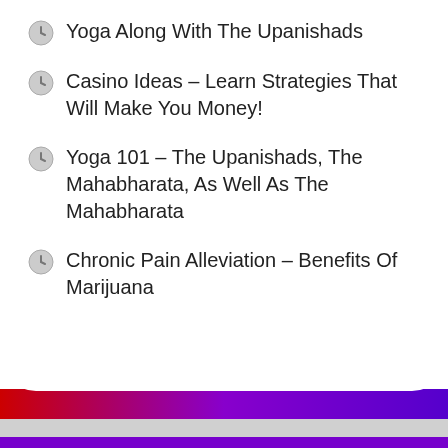Yoga Along With The Upanishads
Casino Ideas – Learn Strategies That Will Make You Money!
Yoga 101 – The Upanishads, The Mahabharata, As Well As The Mahabharata
Chronic Pain Alleviation – Benefits Of Marijuana
Menu
About
Contact